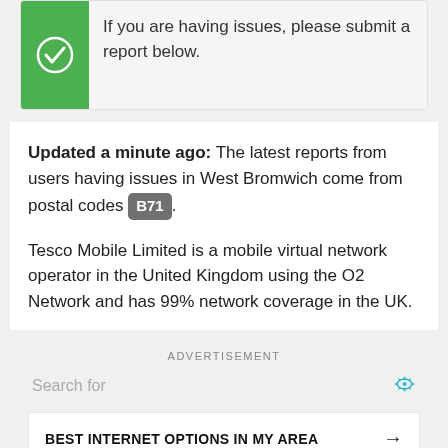If you are having issues, please submit a report below.
Updated a minute ago: The latest reports from users having issues in West Bromwich come from postal codes B71.
Tesco Mobile Limited is a mobile virtual network operator in the United Kingdom using the O2 Network and has 99% network coverage in the UK.
ADVERTISEMENT
Search for
BEST INTERNET OPTIONS IN MY AREA →
BEST BROADBAND BY AREA →
WATCH TV ON INTERNET →